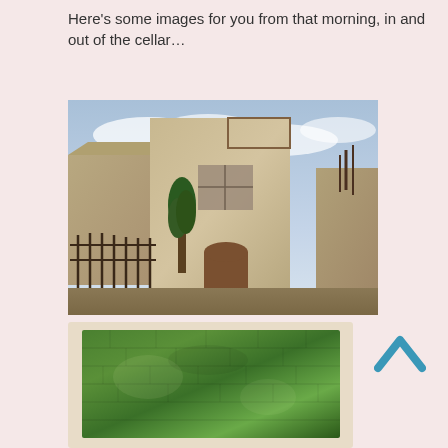Here’s some images for you from that morning, in and out of the cellar…
[Figure (photo): Exterior photograph of a rustic stone building with iron fence, wooden door, and tree in the foreground, taken in the morning]
[Figure (photo): Close-up photograph of a green moss-covered stone wall, shown in an Instagram-style polaroid frame]